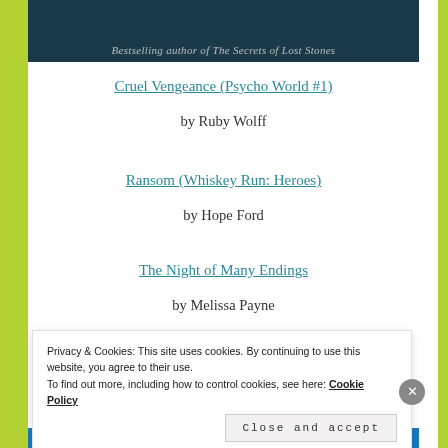[Figure (photo): Dark book cover image showing text 'Bestselling author of The Secrets of Lost Stones' at the bottom on a dark teal/navy background]
Cruel Vengeance (Psycho World #1)
by Ruby Wolff
Ransom (Whiskey Run: Heroes)
by Hope Ford
The Night of Many Endings
by Melissa Payne
Privacy & Cookies: This site uses cookies. By continuing to use this website, you agree to their use.
To find out more, including how to control cookies, see here: Cookie Policy
Close and accept